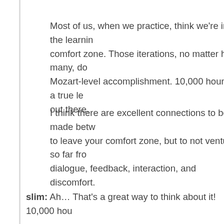Most of us, when we practice, think we're in the learning comfort zone. Those iterations, no matter how many, do Mozart-level accomplishment. 10,000 hours in a true le out there.
I think there are excellent connections to be made betw to leave your comfort zone, but to not venture so far fro dialogue, feedback, interaction, and discomfort.
slim: Ah… That's a great way to think about it! 10,000 hou
joonkoo: Yes, as An-Lon described—thanks, An-Lon— effort and time is a necessity for gaining an expertise..
Sorry if my comments steered the discussion too much were referring to when I got a better understanding of w